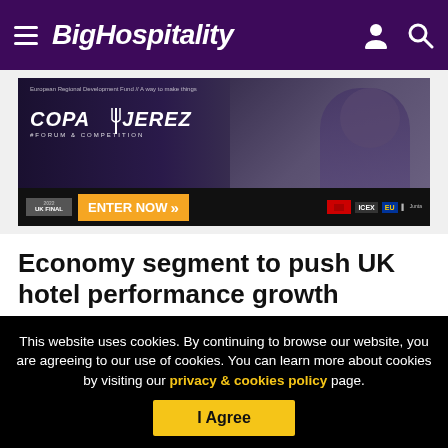BigHospitality
[Figure (photo): Copa Jerez forum and competition advertisement banner with person tasting wine, showing 'ENTER NOW' call to action and UK Final badge]
Economy segment to push UK hotel performance growth
This website uses cookies. By continuing to browse our website, you are agreeing to our use of cookies. You can learn more about cookies by visiting our privacy & cookies policy page.